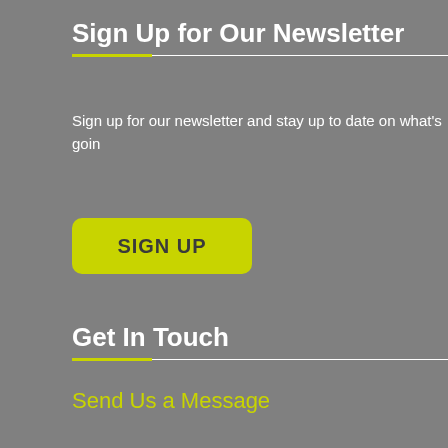Sign Up for Our Newsletter
Sign up for our newsletter and stay up to date on what's goin
[Figure (other): Yellow-green rounded button with bold text 'SIGN UP']
Get In Touch
Send Us a Message
607 Lake Street
Evanston, IL 60201
Ph: (847) 864-2181